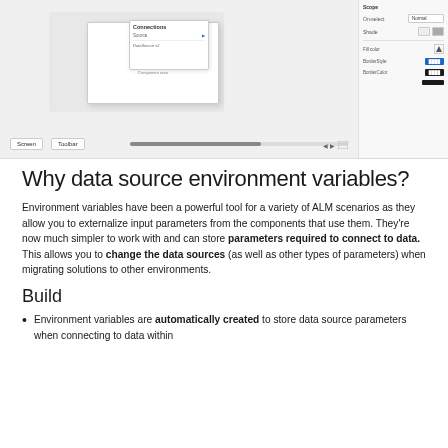[Figure (screenshot): Screenshot of a software UI showing a data configuration panel with popup dialogs and a right-side panel with settings including blue and black color swatches.]
Why data source environment variables?
Environment variables have been a powerful tool for a variety of ALM scenarios as they allow you to externalize input parameters from the components that use them. They're now much simpler to work with and can store parameters required to connect to data.  This allows you to change the data sources (as well as other types of parameters) when migrating solutions to other environments.
Build
Environment variables are automatically created to store data source parameters when connecting to data within